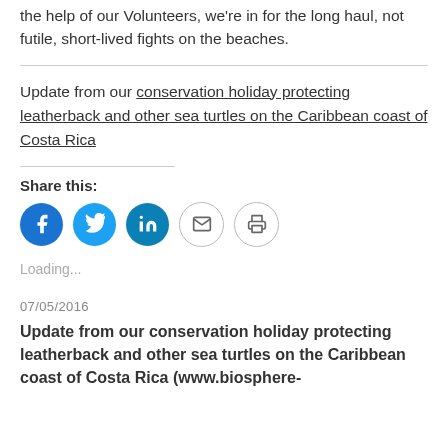the help of our Volunteers, we're in for the long haul, not futile, short-lived fights on the beaches.
Update from our conservation holiday protecting leatherback and other sea turtles on the Caribbean coast of Costa Rica
Share this:
Loading...
07/05/2016
Update from our conservation holiday protecting leatherback and other sea turtles on the Caribbean coast of Costa Rica (www.biosphere-